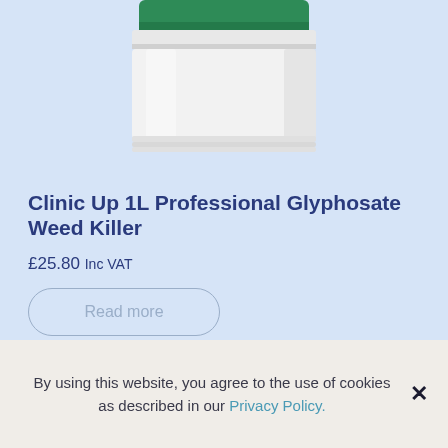[Figure (illustration): Partial view of a white cylindrical canister/jar with a green lid, cropped at the top of the page against a light blue background.]
Clinic Up 1L Professional Glyphosate Weed Killer
£25.80 Inc VAT
Read more
By using this website, you agree to the use of cookies as described in our Privacy Policy.